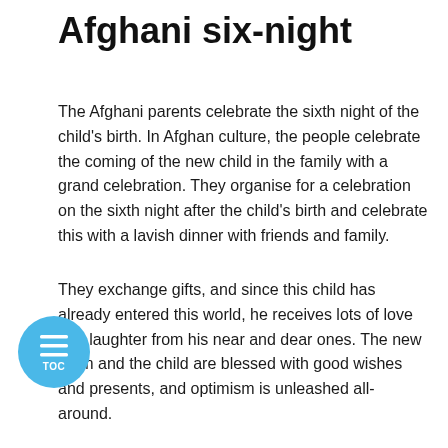Afghani six-night
The Afghani parents celebrate the sixth night of the child’s birth. In Afghan culture, the people celebrate the coming of the new child in the family with a grand celebration. They organise for a celebration on the sixth night after the child’s birth and celebrate this with a lavish dinner with friends and family.
They exchange gifts, and since this child has already entered this world, he receives lots of love and laughter from his near and dear ones. The new mum and the child are blessed with good wishes and presents, and optimism is unleashed all-around.